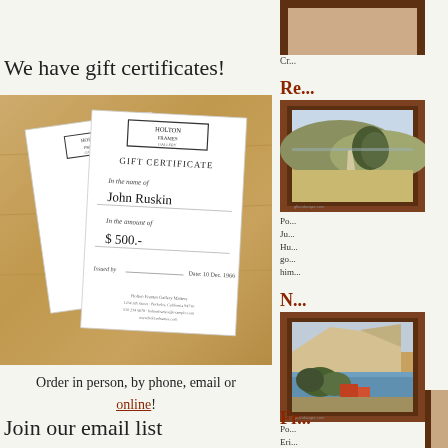We have gift certificates!
[Figure (photo): Photo of Holton Frames gift certificates on a wooden table background, showing two white certificates with the gallery logo, one filled out in the name of John Ruskin for $500]
Order in person, by phone, email or online!
Join our email list
[Figure (photo): Partial view of a dark brown wooden picture frame at top right]
Cr...
Re...
Po...
Ju... Hu... go... him...
[Figure (photo): Framed landscape painting showing a road through hills with a motorcyclist, California landscape]
N...
Po...
Eri... Ro... $1... un...
[Figure (photo): Framed painting of a coastal scene with cliffs, trees, and buildings]
Fr...
[Figure (photo): Partial view of bottom of dark wooden picture frame]